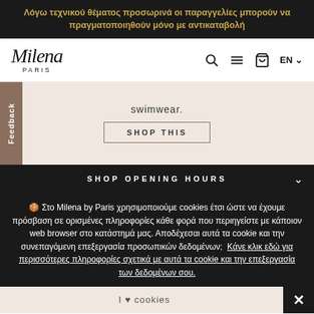Λόγω τεχνικού θέματος προσωρινά οι παραγγελίες μπορούν να πραγματοποιηθούν μόνο με αντικαταβολή
[Figure (logo): Milena Paris logo in italic script font with PARIS subtitle]
swimwear.
SHOP THIS
Feedback
SHOP OPENING HOURS
🍪 Στο Milena by Paris χρησιμοποιούμε cookies έτσι ώστε να έχουμε πρόσβαση σε ορισμένες πληροφορίες κάθε φορά που περιηγείστε με κάποιον web browser στο κατάστημά μας. Αποδέχεσαι αυτά τα cookie και την συνεπαγόμενη επεξεργασία προσωπικών δεδομένων; Κάνε κλικ εδώ για περισσότερες πληροφορίες σχετικά με αυτά τα cookie και την επεξεργασία των δεδομένων σου.
I ♥ cookies